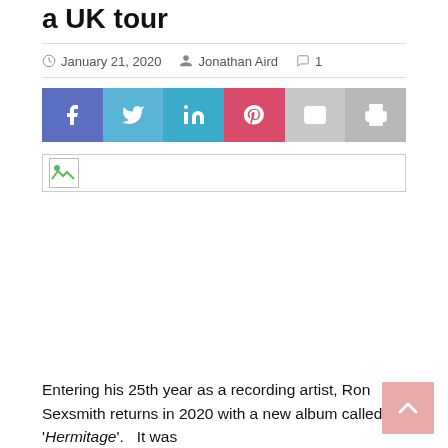a UK tour
January 21, 2020  Jonathan Aird  1
[Figure (other): Social media share buttons: Facebook, Twitter, LinkedIn, Pinterest, Email, Print]
[Figure (photo): Broken/missing image placeholder]
Entering his 25th year as a recording artist, Ron Sexsmith returns in 2020 with a new album called ‘Hermitage’.  It was